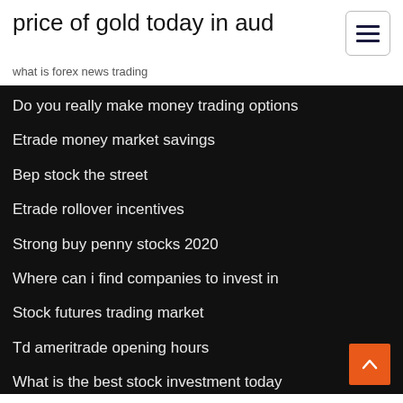price of gold today in aud
what is forex news trading
Do you really make money trading options
Etrade money market savings
Bep stock the street
Etrade rollover incentives
Strong buy penny stocks 2020
Where can i find companies to invest in
Stock futures trading market
Td ameritrade opening hours
What is the best stock investment today
Cryptocurrency coins predictions